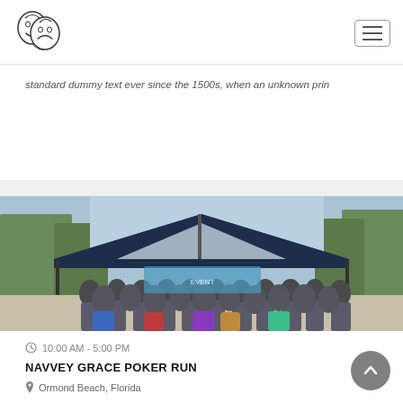[Figure (logo): Theater masks logo (comedy/tragedy/drama faces) in sketch style]
[Figure (other): Hamburger menu button icon (three horizontal lines in a rounded rectangle border)]
standard dummy text ever since the 1500s, when an unknown prin
[Figure (photo): Group photo of approximately 30-40 people standing under a blue canopy tent outdoors with trees in background, appears to be a charity run or outdoor event]
10:00 AM - 5:00 PM
NAVVEY GRACE POKER RUN
Ormond Beach, Florida
What is Lorem Ipsum? Lorem IpsumB is simply dummy text of the printing and typesetting industry. Lorem Ipsum has been the industry's